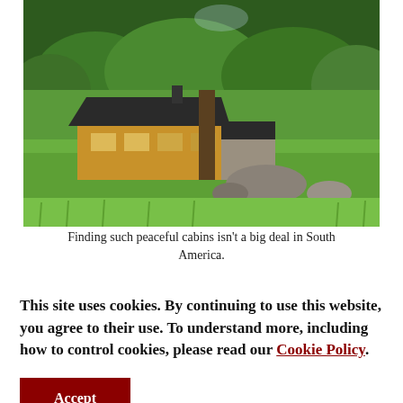[Figure (photo): A wooden cabin with a dark roof surrounded by lush green trees and a meadow with large rocks in the foreground. Bright sunny day in a mountainous area, likely South America.]
Finding such peaceful cabins isn't a big deal in South America.
This site uses cookies. By continuing to use this website, you agree to their use. To understand more, including how to control cookies, please read our Cookie Policy.
Accept